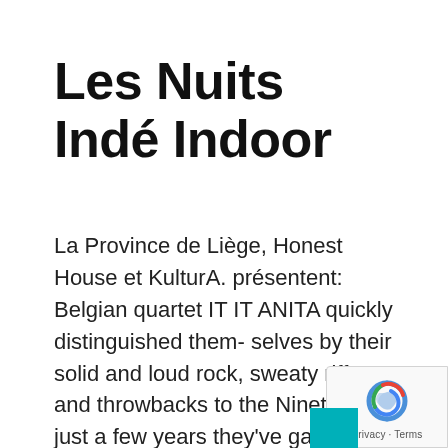Les Nuits Indé Indoor
La Province de Liège, Honest House et KulturA. présentent: Belgian quartet IT IT ANITA quickly distinguished them- selves by their solid and loud rock, sweaty riffs and throwbacks to the Nineties. In just a few years they've gained a foothold in this very exciting alternative rock scene. Since their last album Laurent (2018) and the re- sulting 150 shows through Europe, the band comes up with an overwhelming